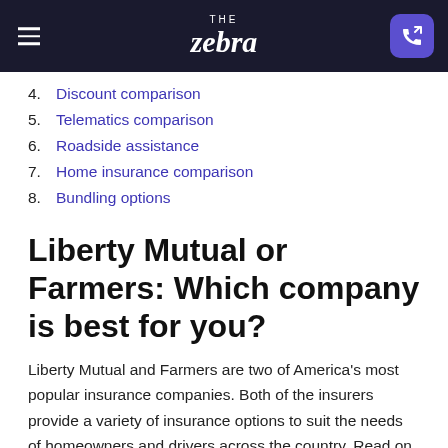THE Zebra
4. Discount comparison
5. Telematics comparison
6. Roadside assistance
7. Home insurance comparison
8. Bundling options
Liberty Mutual or Farmers: Which company is best for you?
Liberty Mutual and Farmers are two of America's most popular insurance companies. Both of the insurers provide a variety of insurance options to suit the needs of homeowners and drivers across the country. Read on for a